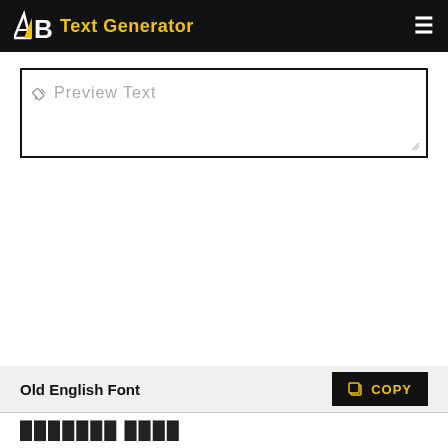AB Text Generator
Preview Text
Old English Font
COPY
▓▓▓▓▓▓▓ ▓▓▓▓